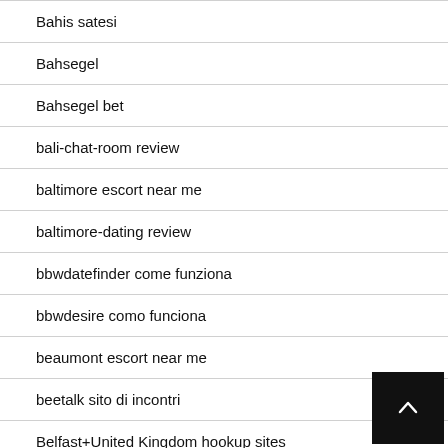Bahis satesi
Bahsegel
Bahsegel bet
bali-chat-room review
baltimore escort near me
baltimore-dating review
bbwdatefinder come funziona
bbwdesire como funciona
beaumont escort near me
beetalk sito di incontri
Belfast+United Kingdom hookup sites